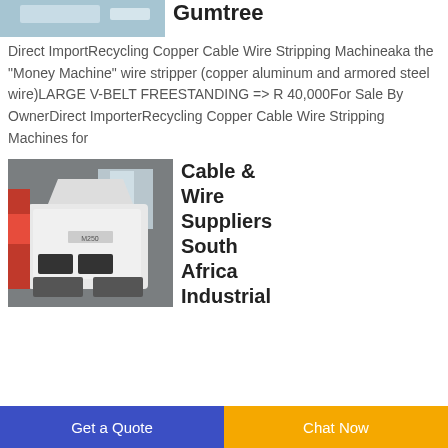[Figure (photo): Top partial image of a wire stripping machine or similar industrial equipment, mostly white/blue background]
Gumtree
Direct ImportRecycling Copper Cable Wire Stripping Machineaka the "Money Machine" wire stripper (copper aluminum and armored steel wire)LARGE V-BELT FREESTANDING => R 40,000For Sale By OwnerDirect ImporterRecycling Copper Cable Wire Stripping Machines for
[Figure (photo): Photo of a white industrial cable/wire stripping machine inside a warehouse or industrial building, with red machinery visible on the left]
Cable & Wire Suppliers South Africa Industrial
Get a Quote
Chat Now